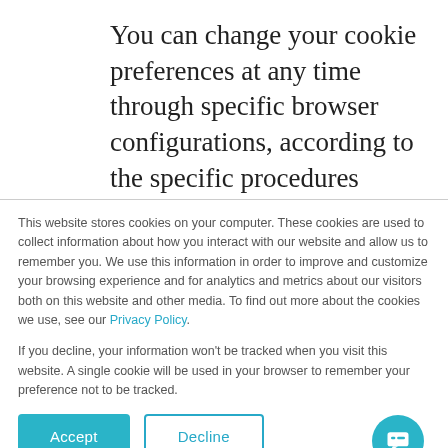You can change your cookie preferences at any time through specific browser configurations, according to the specific procedures described below. Through
This website stores cookies on your computer. These cookies are used to collect information about how you interact with our website and allow us to remember you. We use this information in order to improve and customize your browsing experience and for analytics and metrics about our visitors both on this website and other media. To find out more about the cookies we use, see our Privacy Policy.
If you decline, your information won't be tracked when you visit this website. A single cookie will be used in your browser to remember your preference not to be tracked.
Accept | Decline